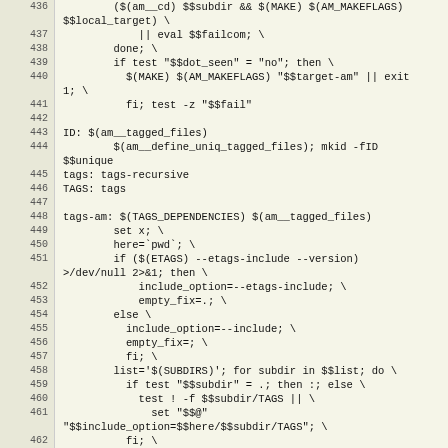Code listing lines 436-463, Makefile source code
436: ($(am__cd) $$subdir && $(MAKE) $(AM_MAKEFLAGS) $$local_target) \
437:         || eval $$failcom; \
438:     done; \
439:     if test "$$dot_seen" = "no"; then \
440:       $(MAKE) $(AM_MAKEFLAGS) "$$target-am" || exit 1; \
441:       fi; test -z "$$fail"
442: (empty)
443: ID: $(am__tagged_files)
444:     $(am__define_uniq_tagged_files); mkid -fID $$unique
445: tags: tags-recursive
446: TAGS: tags
447: (empty)
448: tags-am: $(TAGS_DEPENDENCIES) $(am__tagged_files)
449:     set x; \
450:     here=`pwd`; \
451:     if ($(ETAGS) --etags-include --version) >/dev/null 2>&1; then \
452:         include_option=--etags-include; \
453:         empty_fix=.; \
454:     else \
455:       include_option=--include; \
456:       empty_fix=; \
457:       fi; \
458:     list='$(SUBDIRS)'; for subdir in $$list; do \
459:       if test "$$subdir" = .; then :; else \
460:         test ! -f $$subdir/TAGS || \
461:           set "$$@" "$$include_option=$$here/$$subdir/TAGS"; \
462:       fi; \
463:     done; \